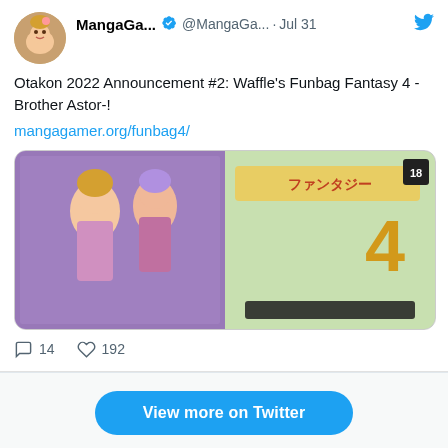MangaGa... @MangaGa... · Jul 31
Otakon 2022 Announcement #2: Waffle's Funbag Fantasy 4 -Brother Astor-!
mangagamer.org/funbag4/
[Figure (illustration): Promotional game art image for Funbag Fantasy 4 -Brother Astor- showing anime-style characters on left half and game logo on right half with green background]
14   192
View more on Twitter
Learn more about privacy on Twitter